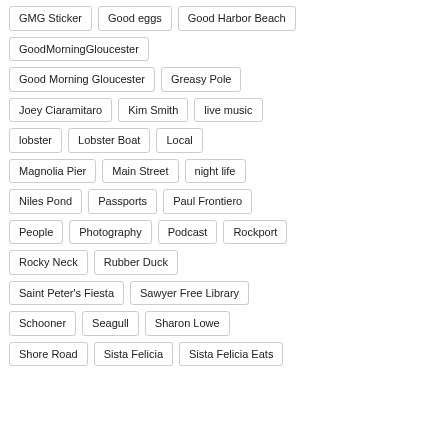GMG Sticker
Good eggs
Good Harbor Beach
GoodMorningGloucester
Good Morning Gloucester
Greasy Pole
Joey Ciaramitaro
Kim Smith
live music
lobster
Lobster Boat
Local
Magnolia Pier
Main Street
night life
Niles Pond
Passports
Paul Frontiero
People
Photography
Podcast
Rockport
Rocky Neck
Rubber Duck
Saint Peter's Fiesta
Sawyer Free Library
Schooner
Seagull
Sharon Lowe
Shore Road
Sista Felicia
Sista Felicia Eats